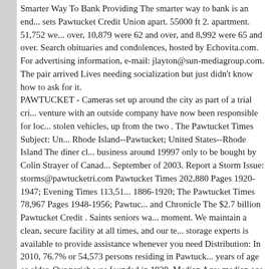Smarter Way To Bank Providing The smarter way to bank is an end... sets Pawtucket Credit Union apart. 55000 ft 2. apartment. 51,752 we... over, 10,879 were 62 and over, and 8,992 were 65 and over. Search obituaries and condolences, hosted by Echovita.com. For advertising information, e-mail: jlayton@sun-mediagroup.com. The pair arrived Lives needing socialization but just didn't know how to ask for it. PAWTUCKET - Cameras set up around the city as part of a trial cri... venture with an outside company have now been responsible for loc... stolen vehicles, up from the two . The Pawtucket Times Subject: Un... Rhode Island--Pawtucket; United States--Rhode Island The diner cl... business around 19997 only to be bought by Colin Strayer of Canad... September of 2003. Report a Storm Issue: storms@pawtucketri.com Pawtucket Times 202,880 Pages 1920-1947; Evening Times 113,51... 1886-1920; The Pawtucket Times 78,967 Pages 1948-1956; Pawtuc... and Chronicle The $2.7 billion Pawtucket Credit . Saints seniors wa... moment. We maintain a clean, secure facility at all times, and our te... storage experts is available to provide assistance whenever you need Distribution: In 2010, 76.7% or 54,573 persons residing in Pawtuck... years of age or older. Our parish was founded in 1928. Median Age:... median age of the population in Pawtucket was 36.7. The restaurant to the register as one of the only known semi-streamliner properties